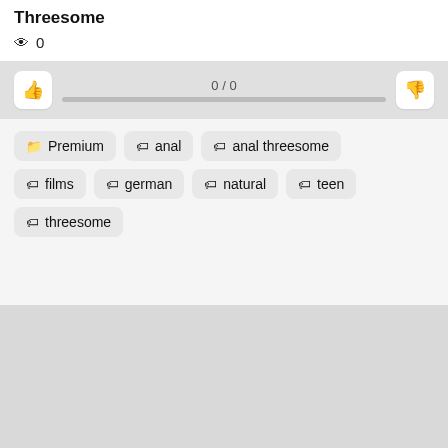Threesome
👁 0
[Figure (other): Rating bar with thumbs up button on left, 0/0 score in center, thumbs down button on right, and a gray progress bar]
🏷 Premium
🏷 anal
🏷 anal threesome
🏷 films
🏷 german
🏷 natural
🏷 teen
🏷 threesome